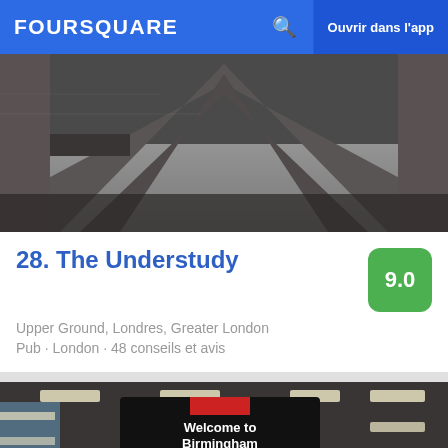FOURSQUARE  Ouvrir dans l'app
[Figure (photo): Black and white photo of underside of a brutalist building/bridge structure showing concrete beams and ceiling]
28. The Understudy
Upper Ground, Londres, Greater London
Pub · London · 48 conseils et avis
[Figure (photo): Interior photo of Birmingham International Station showing large sign reading 'Welcome to Birmingham International Station', departure boards, arrivals board showing 06:28, and First Class Lounge signage]